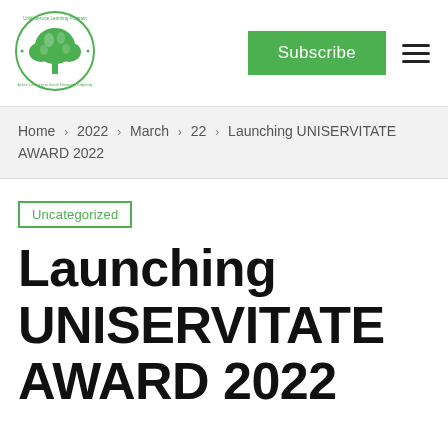[Figure (logo): UniK Service Learning Program circular logo with a green tree in the center and text around the border]
Subscribe
Home > 2022 > March > 22 > Launching UNISERVITATE AWARD 2022
Uncategorized
Launching UNISERVITATE AWARD 2022